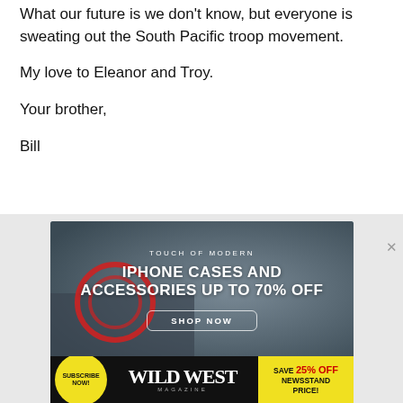What our future is we don't know, but everyone is sweating out the South Pacific troop movement.
My love to Eleanor and Troy.
Your brother,
Bill
[Figure (infographic): Touch of Modern advertisement: iPhone cases and accessories up to 70% off, with a Shop Now button, overlaid on a dark phone/technology background image.]
[Figure (infographic): Wild West Magazine advertisement banner: Subscribe Now badge, Wild West Magazine logo, Save 25% Off Newsstand Price offer.]